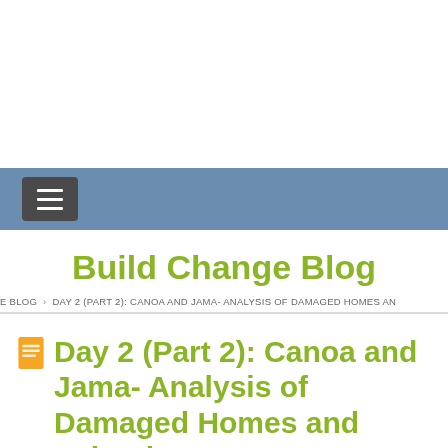[Figure (screenshot): White top area of webpage]
[Figure (screenshot): Blue navigation bar with hamburger menu icon]
Build Change Blog
E BLOG > DAY 2 (PART 2): CANOA AND JAMA- ANALYSIS OF DAMAGED HOMES AN
Day 2 (Part 2): Canoa and Jama- Analysis of Damaged Homes and Schools